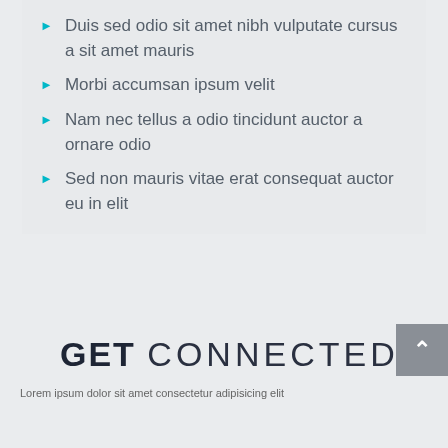Duis sed odio sit amet nibh vulputate cursus a sit amet mauris
Morbi accumsan ipsum velit
Nam nec tellus a odio tincidunt auctor a ornare odio
Sed non mauris vitae erat consequat auctor eu in elit
GET CONNECTED
Lorem ipsum dolor sit amet consectetur adipisicing elit